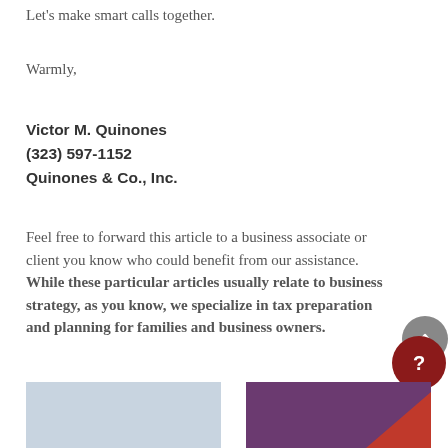Let's make smart calls together.
Warmly,
Victor M. Quinones
(323) 597-1152
Quinones & Co., Inc.
Feel free to forward this article to a business associate or client you know who could benefit from our assistance. While these particular articles usually relate to business strategy, as you know, we specialize in tax preparation and planning for families and business owners.
Related posts:
[Figure (photo): Two thumbnail images below 'Related posts:' label — left image shows a sky/cloud scene, right image shows a dark purple background with a red diagonal element]
[Figure (other): Scroll-to-top button (grey circle with upward chevron)]
[Figure (other): Help button (dark red circle with white question mark)]